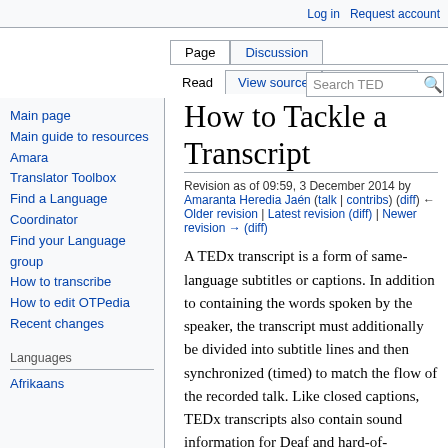Log in | Request account
Page | Discussion | Read | View source | View history | Search TED
How to Tackle a Transcript
Revision as of 09:59, 3 December 2014 by Amaranta Heredia Jaén (talk | contribs) (diff) ← Older revision | Latest revision (diff) | Newer revision → (diff)
A TEDx transcript is a form of same-language subtitles or captions. In addition to containing the words spoken by the speaker, the transcript must additionally be divided into subtitle lines and then synchronized (timed) to match the flow of the recorded talk. Like closed captions, TEDx transcripts also contain sound information for Deaf and hard-of-
Main page
Main guide to resources
Amara
Translator Toolbox
Find a Language Coordinator
Find your Language group
How to transcribe
How to edit OTPedia
Recent changes
Languages
Afrikaans